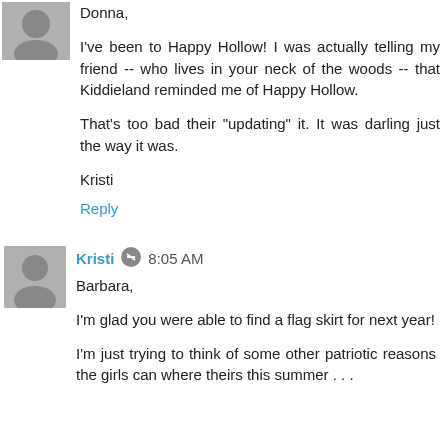Donna,

I've been to Happy Hollow! I was actually telling my friend -- who lives in your neck of the woods -- that Kiddieland reminded me of Happy Hollow.

That's too bad their "updating" it. It was darling just the way it was.

Kristi
Reply
Kristi  8:05 AM

Barbara,

I'm glad you were able to find a flag skirt for next year!

I'm just trying to think of some other patriotic reasons the girls can where theirs this summer . . .